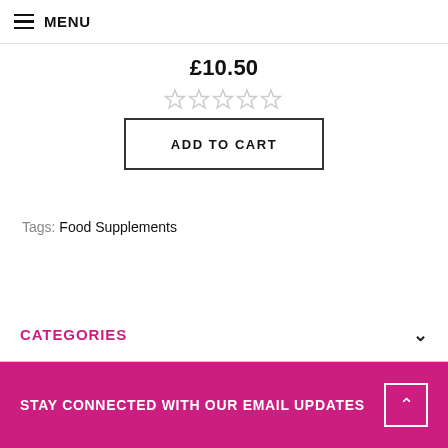MENU
£10.50
[Figure (other): Five empty star rating icons (no stars filled)]
ADD TO CART
Tags: Food Supplements
CATEGORIES
STAY CONNECTED WITH OUR EMAIL UPDATES